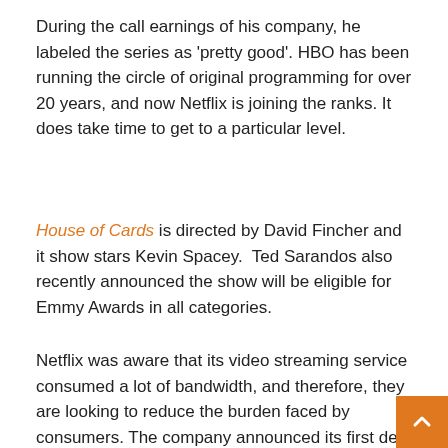During the call earnings of his company, he labeled the series as 'pretty good'. HBO has been running the circle of original programming for over 20 years, and now Netflix is joining the ranks. It does take time to get to a particular level.
House of Cards is directed by David Fincher and it show stars Kevin Spacey.  Ted Sarandos also recently announced the show will be eligible for Emmy Awards in all categories.
Netflix was aware that its video streaming service consumed a lot of bandwidth, and therefore, they are looking to reduce the burden faced by consumers. The company announced its first deal with a U.S cable operator back in January, announcing consumers will be able to store and manage TV and movie content directly with servers stored in the network of the cable provider. This will lead to an enhanced video streaming